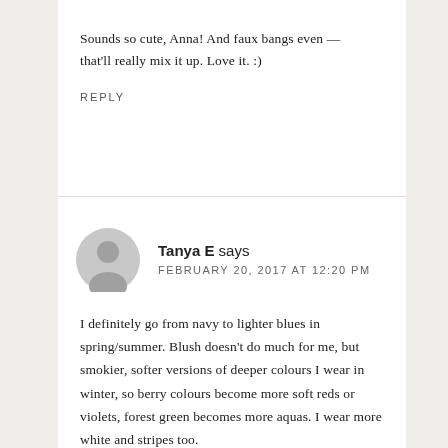Sounds so cute, Anna! And faux bangs even — that'll really mix it up. Love it. :)
REPLY
Tanya E says
FEBRUARY 20, 2017 AT 12:20 PM
I definitely go from navy to lighter blues in spring/summer. Blush doesn't do much for me, but smokier, softer versions of deeper colours I wear in winter, so berry colours become more soft reds or violets, forest green becomes more aquas. I wear more white and stripes too.